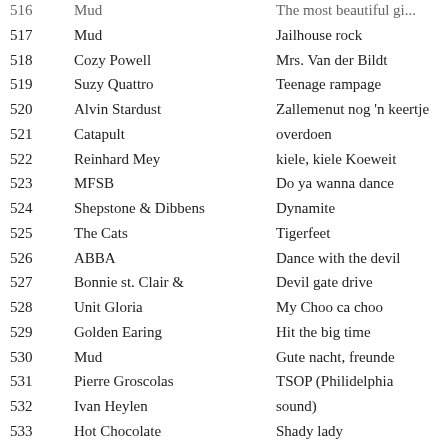| # | Artist | Song |
| --- | --- | --- |
| 516 | Mud | The most beautiful gi... |
| 517 | Mud | Jailhouse rock |
| 518 | Cozy Powell | Mrs. Van der Bildt |
| 519 | Suzy Quattro | Teenage rampage |
| 520 | Alvin Stardust | Zallemenut nog 'n keertje overdoen |
| 521 | Catapult |  |
| 522 | Reinhard Mey | kiele, kiele Koeweit |
| 523 | MFSB | Do ya wanna dance |
| 524 | Shepstone & Dibbens | Dynamite |
| 525 | The Cats | Tigerfeet |
| 526 | ABBA | Dance with the devil |
| 527 | Bonnie st. Clair & | Devil gate drive |
| 528 | Unit Gloria | My Choo ca choo |
| 529 | Golden Earing | Hit the big time |
| 530 | Mud | Gute nacht, freunde |
| 531 | Pierre Groscolas | TSOP (Philidelphia sound) |
| 532 | Ivan Heylen |  |
| 533 | Hot Chocolate | Shady lady |
| 534 | The Rubettes | Be my day |
| 535 | American Gypsy | Waterloo |
| 536 | Harold Melvin & cö | Voulez vous |
|  | Earth & Fire | Instant Poetry |